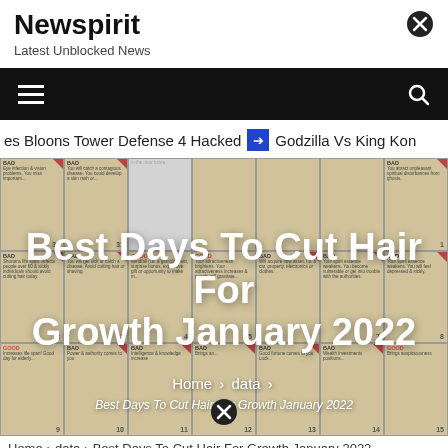Newspirit
Latest Unblocked News
[Figure (other): Navigation bar with hamburger menu icon on left and search icon on right, black background]
es Bloons Tower Defense 4 Hacked   ➔   Godzilla Vs King Kon
[Figure (infographic): Hair cutting calendar for January 2022 showing good and bad days to cut hair for growth, with grid cells labeled GOOD or BAD with descriptions]
Best Days To Cut Hair For Growth January 2022
Home > data > Best Days To Cut Hair For Growth January 2022